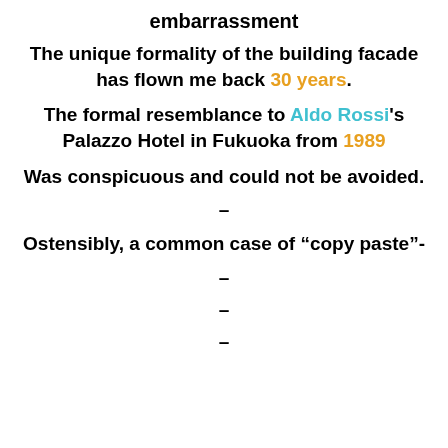embarrassment
The unique formality of the building facade has flown me back 30 years.
The formal resemblance to Aldo Rossi's Palazzo Hotel in Fukuoka from 1989
Was conspicuous and could not be avoided.
–
Ostensibly, a common case of “copy paste”-
–
–
–